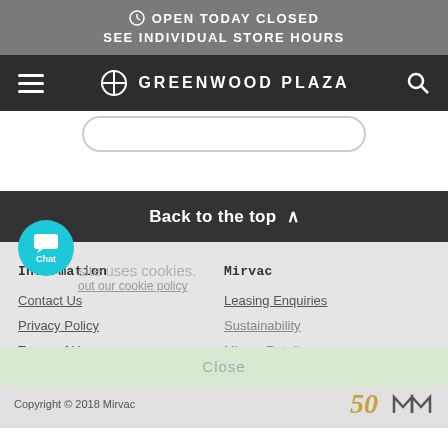OPEN TODAY CLOSED
SEE INDIVIDUAL STORE HOURS
[Figure (logo): Greenwood Plaza navigation bar with hamburger menu, logo, and search icon]
Back to the top ^
Chat
Information
Contact Us
Privacy Policy
Terms of Use
Mirvac
Leasing Enquiries
Sustainability
Mirvac Retail
This site uses cookies. Learn about our cookie policy
Close
Copyright © 2018 Mirvac